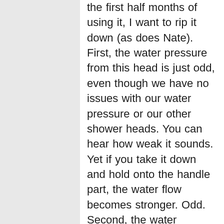the first half months of using it, I want to rip it down (as does Nate). First, the water pressure from this head is just odd, even though we have no issues with our water pressure or our other shower heads. You can hear how weak it sounds. Yet if you take it down and hold onto the handle part, the water flow becomes stronger. Odd. Second, the water temperature changes too quickly. As in the water coming out from the head is super warm and yet as you move away from the head it gets cooler and cooler. Not so fun when you like hot showers. Third, and this it the biggest issue for us, it drips. Good